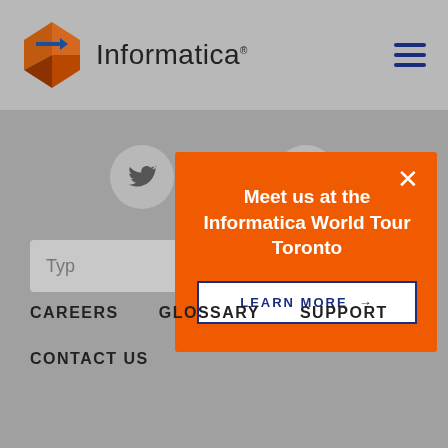[Figure (logo): Informatica logo with orange/brown diamond shape and blue arrow, beside the text 'Informatica']
[Figure (screenshot): Hamburger menu icon (three horizontal dark blue lines) in top right of header]
[Figure (screenshot): Twitter bird icon in gray circle]
[Figure (screenshot): Instagram camera icon in gray circle]
Typ
[Figure (infographic): Orange popup modal with close X button, title 'Meet us at the Informatica World Tour Toronto', and a white 'LEARN MORE →' button with blue text and border]
CAREERS
GLOSSARY
SUPPORT
CONTACT US